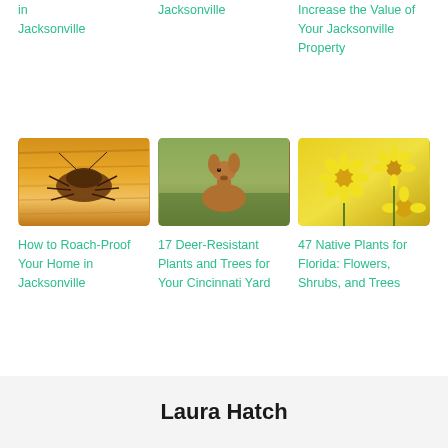in Jacksonville
Jacksonville
Increase the Value of Your Jacksonville Property
[Figure (photo): Close-up photo of a cockroach on a wooden surface]
[Figure (photo): Photo of a deer looking up in a field]
[Figure (photo): Photo of yellow native Florida wildflowers (coreopsis)]
How to Roach-Proof Your Home in Jacksonville
17 Deer-Resistant Plants and Trees for Your Cincinnati Yard
47 Native Plants for Florida: Flowers, Shrubs, and Trees
Laura Hatch